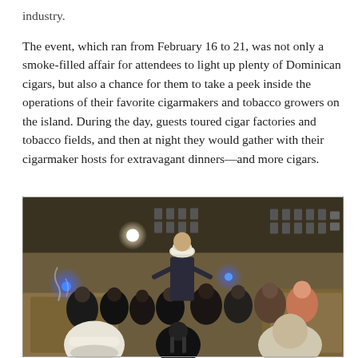industry.

The event, which ran from February 16 to 21, was not only a smoke-filled affair for attendees to light up plenty of Dominican cigars, but also a chance for them to take a peek inside the operations of their favorite cigarmakers and tobacco growers on the island. During the day, guests toured cigar factories and tobacco fields, and then at night they would gather with their cigarmaker hosts for extravagant dinners—and more cigars.
[Figure (photo): A group of people gathered inside a large warehouse or tobacco barn. A person wearing a white hat stands elevated, appearing to speak to the crowd. The attendees are watching and listening. Blue lights are visible and tobacco/hay bales are in the background.]